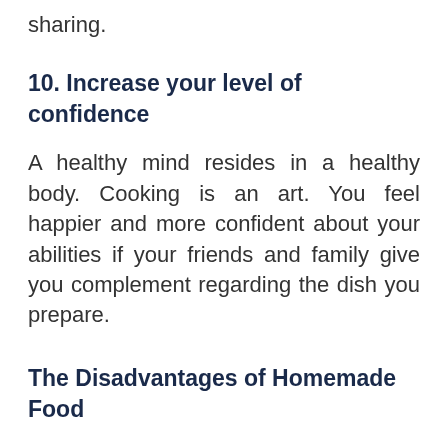sharing.
10. Increase your level of confidence
A healthy mind resides in a healthy body. Cooking is an art. You feel happier and more confident about your abilities if your friends and family give you complement regarding the dish you prepare.
The Disadvantages of Homemade Food
After cooking you have to clean all the things, like pots, pans, stove, all cooking